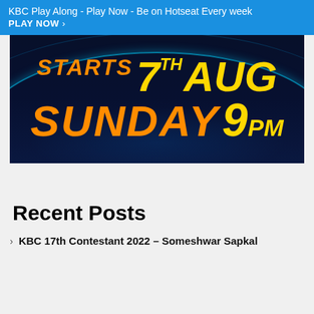KBC Play Along - Play Now - Be on Hotseat Every week PLAY NOW ›
[Figure (photo): Dark blue promotional banner with neon ring effects. Text reads: STARTS 7TH AUG SUNDAY 9PM in orange and yellow stylized fonts.]
Recent Posts
KBC 17th Contestant 2022 – Someshwar Sapkal